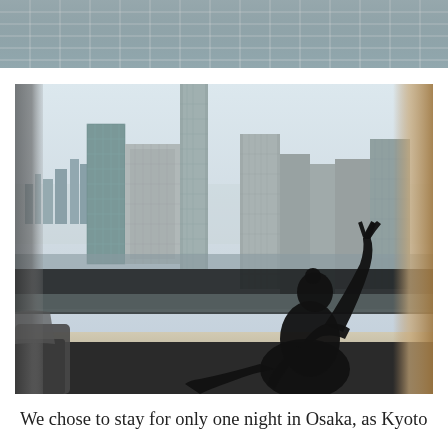[Figure (photo): Partial top view of a tiled ceiling or grid structure, cropped at the top of the page]
[Figure (photo): A person dressed in black sits on a window sill making a peace sign, with a high-rise cityscape of Osaka visible through the full-length window behind them]
We chose to stay for only one night in Osaka, as Kyoto